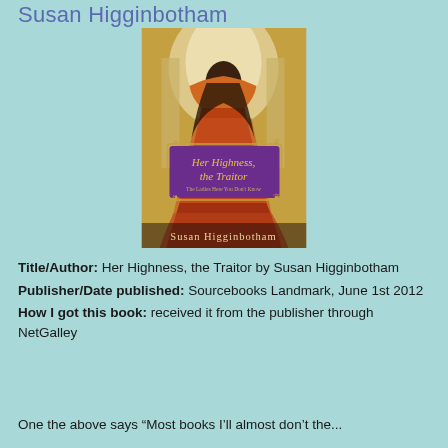Susan Higginbotham
[Figure (photo): Book cover of 'Her Highness, the Traitor' by Susan Higginbotham showing a woman in a red dress from behind, with a purple title banner]
Title/Author: Her Highness, the Traitor by Susan Higginbotham
Publisher/Date published: Sourcebooks Landmark, June 1st 2012
How I got this book: received it from the publisher through NetGalley
One the above says “Most books I’ll almost don’t the...